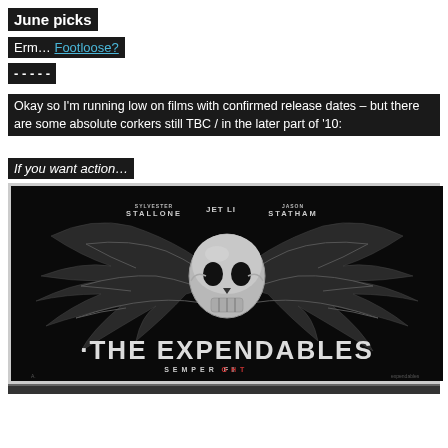June picks
Erm… Footloose?
- - - - -
Okay so I'm running low on films with confirmed release dates – but there are some absolute corkers still TBC / in the later part of '10:
If you want action…
[Figure (photo): Movie poster for The Expendables featuring a chrome skull with wings, cast names Sylvester Stallone, Jet Li, Jason Statham at top, title 'THE EXPENDABLES' and tagline 'SEMPER FIGHT' at bottom]